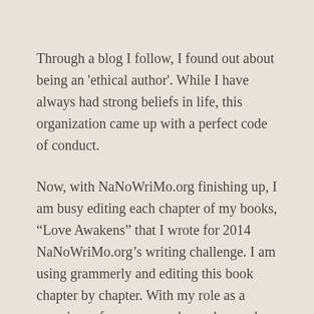Through a blog I follow, I found out about being an 'ethical author'. While I have always had strong beliefs in life, this organization came up with a perfect code of conduct.
Now, with NaNoWriMo.org finishing up, I am busy editing each chapter of my books, “Love Awakens” that I wrote for 2014 NaNoWriMo.org’s writing challenge. I am using grammerly and editing this book chapter by chapter. With my role as a caregiver of my mom and grandma and being a mom to two boys and four cats, life can get a bit tangled for me. Writing helps me remain sane, or